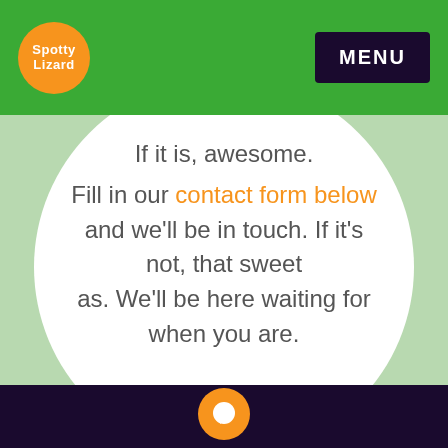[Figure (logo): Spotty Lizard orange circular logo in the top navigation bar]
MENU
If it is, awesome. Fill in our contact form below and we'll be in touch. If it's not, that sweet as. We'll be here waiting for when you are.
[Figure (illustration): Orange circle with white chat bubble icon in the footer]